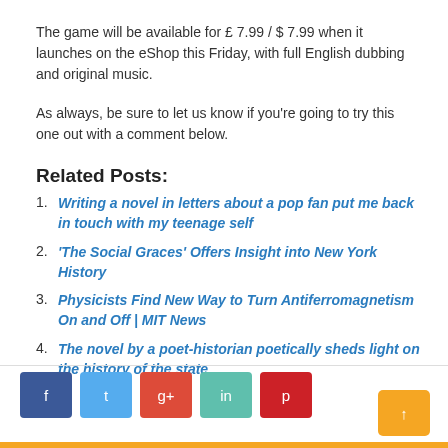The game will be available for £ 7.99 / $ 7.99 when it launches on the eShop this Friday, with full English dubbing and original music.
As always, be sure to let us know if you're going to try this one out with a comment below.
Related Posts:
Writing a novel in letters about a pop fan put me back in touch with my teenage self
'The Social Graces' Offers Insight into New York History
Physicists Find New Way to Turn Antiferromagnetism On and Off | MIT News
The novel by a poet-historian poetically sheds light on the history of the state